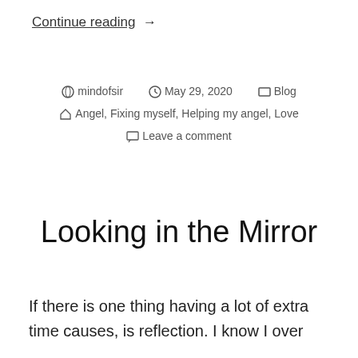Continue reading →
mindofsir  May 29, 2020  Blog  Angel, Fixing myself, Helping my angel, Love  Leave a comment
Looking in the Mirror
If there is one thing having a lot of extra time causes, is reflection. I know I over